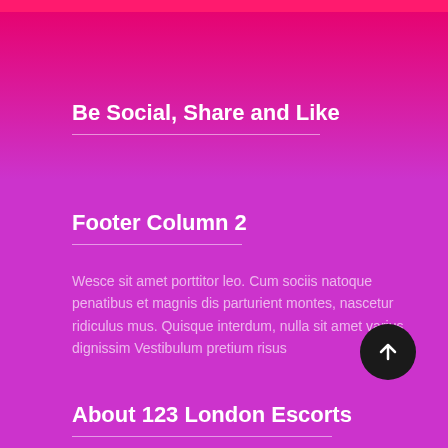Be Social, Share and Like
Footer Column 2
Wesce sit amet porttitor leo. Cum sociis natoque penatibus et magnis dis parturient montes, nascetur ridiculus mus. Quisque interdum, nulla sit amet varius dignissim Vestibulum pretium risus
About 123 London Escorts